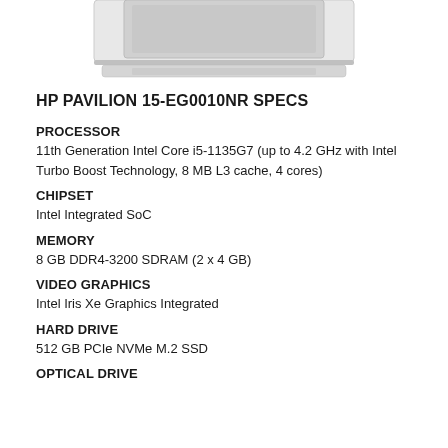[Figure (photo): Partial view of HP Pavilion laptop (bottom/front portion visible), white/silver color, top-down perspective cropped at top of page]
HP PAVILION 15-EG0010NR SPECS
PROCESSOR
11th Generation Intel Core i5-1135G7 (up to 4.2 GHz with Intel Turbo Boost Technology, 8 MB L3 cache, 4 cores)
CHIPSET
Intel Integrated SoC
MEMORY
8 GB DDR4-3200 SDRAM (2 x 4 GB)
VIDEO GRAPHICS
Intel Iris Xe Graphics Integrated
HARD DRIVE
512 GB PCIe NVMe M.2 SSD
OPTICAL DRIVE